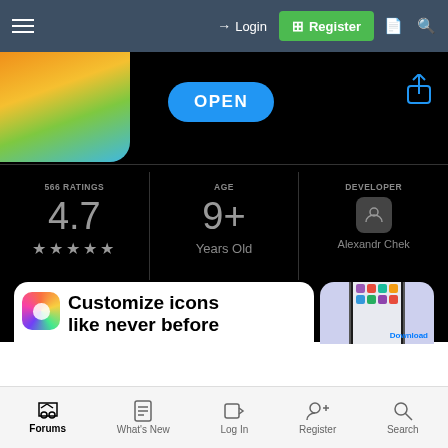Login   Register
[Figure (screenshot): App Store page screenshot showing app icon (gradient orange-green), OPEN button (blue pill), share icon, stats showing 566 RATINGS / 4.7 / 4 stars, AGE 9+ Years Old, DEVELOPER Alexandr Chek, and app screenshots including 'Customize icons like never before']
Forums   What's New   Log In   Register   Search